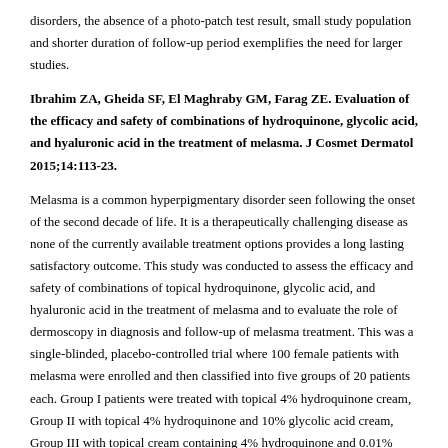disorders, the absence of a photo-patch test result, small study population and shorter duration of follow-up period exemplifies the need for larger studies.
Ibrahim ZA, Gheida SF, El Maghraby GM, Farag ZE. Evaluation of the efficacy and safety of combinations of hydroquinone, glycolic acid, and hyaluronic acid in the treatment of melasma. J Cosmet Dermatol 2015;14:113-23.
Melasma is a common hyperpigmentary disorder seen following the onset of the second decade of life. It is a therapeutically challenging disease as none of the currently available treatment options provides a long lasting satisfactory outcome. This study was conducted to assess the efficacy and safety of combinations of topical hydroquinone, glycolic acid, and hyaluronic acid in the treatment of melasma and to evaluate the role of dermoscopy in diagnosis and follow-up of melasma treatment. This was a single-blinded, placebo-controlled trial where 100 female patients with melasma were enrolled and then classified into five groups of 20 patients each. Group I patients were treated with topical 4% hydroquinone cream, Group II with topical 4% hydroquinone and 10% glycolic acid cream, Group III with topical cream containing 4% hydroquinone and 0.01% hyaluronic acid, Group IV patients with topical cream containing 4% hydroquinone, 10%